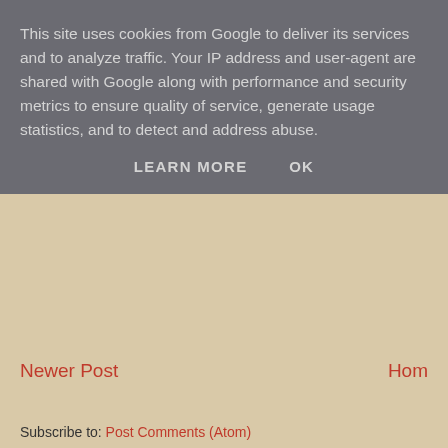This site uses cookies from Google to deliver its services and to analyze traffic. Your IP address and user-agent are shared with Google along with performance and security metrics to ensure quality of service, generate usage statistics, and to detect and address abuse.
LEARN MORE    OK
Newer Post
Hom
Subscribe to: Post Comments (Atom)